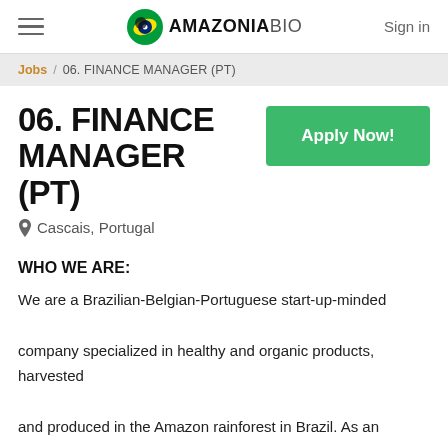AMAZONIABIO — Sign in
Jobs / 06. FINANCE MANAGER (PT)
06. FINANCE MANAGER (PT)
Cascais, Portugal
WHO WE ARE:
We are a Brazilian-Belgian-Portuguese start-up-minded company specialized in healthy and organic products, harvested and produced in the Amazon rainforest in Brazil. As an